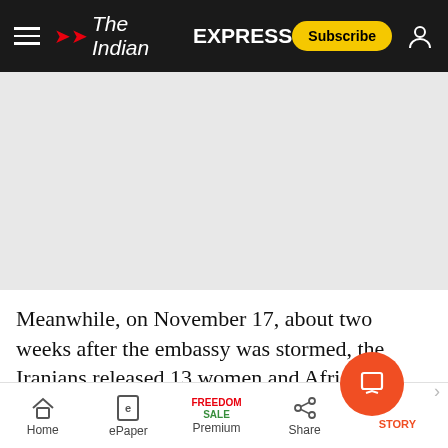The Indian EXPRESS — Subscribe
[Figure (photo): Large image placeholder area, light gray background]
Meanwhile, on November 17, about two weeks after the embassy was stormed, the Iranians released 13 women and African American
Home | ePaper | Premium (FREEDOM SALE) | Share | STORY